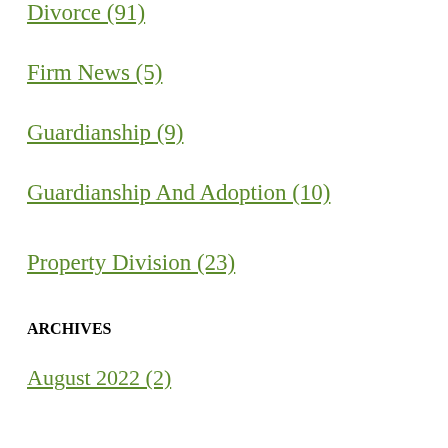Divorce (91)
Firm News (5)
Guardianship (9)
Guardianship And Adoption (10)
Property Division (23)
ARCHIVES
August 2022 (2)
July 2022 (3)
June 2022 (4)
May 2022 (3)
April 2022 (3)
March 2022 (3)
February 2022 (3)
January 2022 (2)